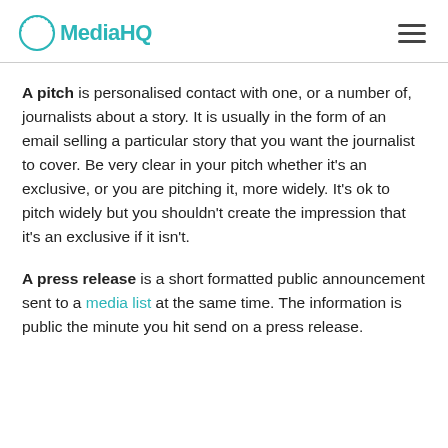MediaHQ
A pitch is personalised contact with one, or a number of, journalists about a story. It is usually in the form of an email selling a particular story that you want the journalist to cover. Be very clear in your pitch whether it's an exclusive, or you are pitching it, more widely. It's ok to pitch widely but you shouldn't create the impression that it's an exclusive if it isn't.
A press release is a short formatted public announcement sent to a media list at the same time. The information is public the minute you hit send on a press release.